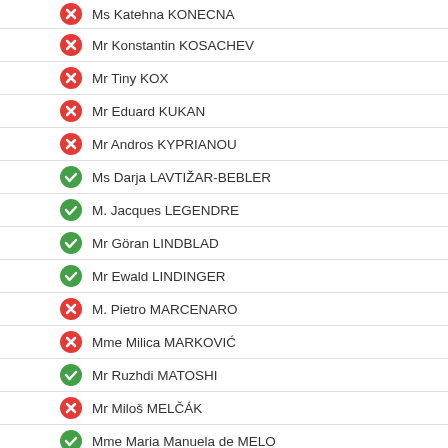Ms Katehna KONECNA
Mr Konstantin KOSACHEV
Mr Tiny KOX
Mr Eduard KUKAN
Mr Andros KYPRIANOU
Ms Darja LAVTIŽAR-BEBLER
M. Jacques LEGENDRE
Mr Göran LINDBLAD
Mr Ewald LINDINGER
M. Pietro MARCENARO
Mme Milica MARKOVIĆ
Mr Ruzhdi MATOSHI
Mr Miloš MELČÁK
Mme Maria Manuela de MELO
M. Mircea MEREUȚĂ
Mr Morten MESSERSCHMIDT
Mr Marko MIHKELSON
M. Bernarti MIKUTIENĖ